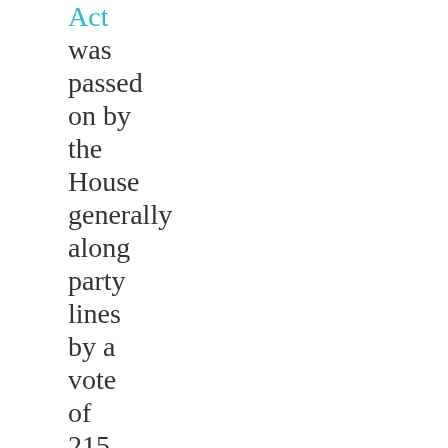Act was passed on by the House generally along party lines by a vote of 215 to 214, with